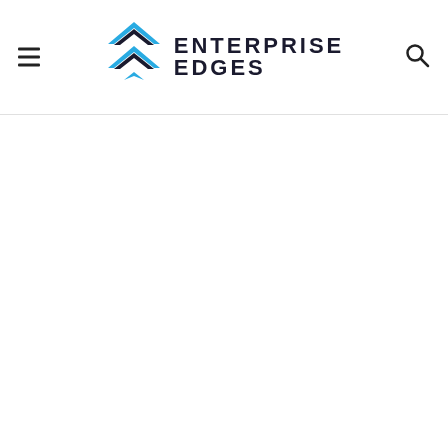Enterprise Edges — website header with logo, hamburger menu, and search icon